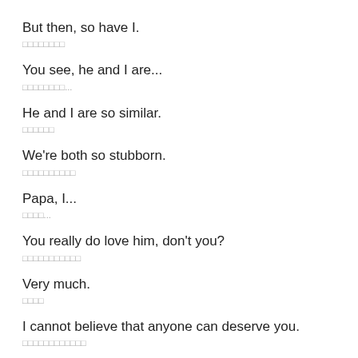But then, so have I.
□□□□□□□□
You see, he and I are...
□□□□□□□□...
He and I are so similar.
□□□□□□
We're both so stubborn.
□□□□□□□□□□
Papa, I...
□□□□...
You really do love him, don't you?
□□□□□□□□□□□
Very much.
□□□□
I cannot believe that anyone can deserve you.
□□□□□□□□□□□□
But it seems I am overruled.